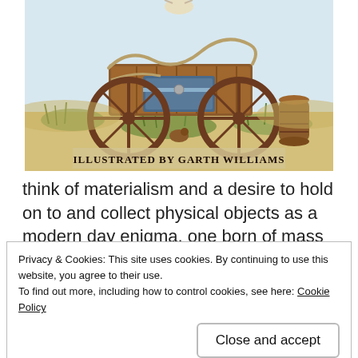[Figure (illustration): Illustration of an old wooden wagon with wheels, ropes, a trunk, and a wooden barrel, set in a grassy prairie scene. Text at the bottom reads 'ILLUSTRATED BY GARTH WILLIAMS' in bold serif capitals.]
think of materialism and a desire to hold on to and collect physical objects as a modern day enigma, one born of mass production and fast fashion.  Imagine my surprise when this theme popped up unexpectedly in the
Privacy & Cookies: This site uses cookies. By continuing to use this website, you agree to their use.
To find out more, including how to control cookies, see here: Cookie Policy
Close and accept